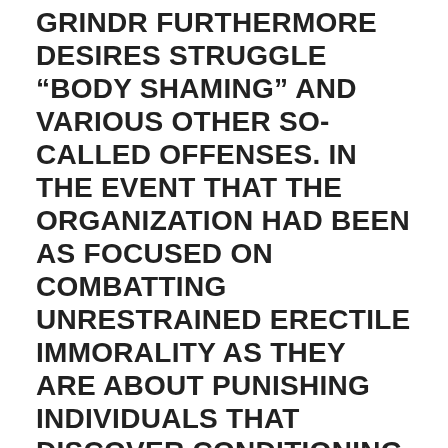GRINDR FURTHERMORE DESIRES STRUGGLE “BODY SHAMING” AND VARIOUS OTHER SO-CALLED OFFENSES. IN THE EVENT THAT THE ORGANIZATION HAD BEEN AS FOCUSED ON COMBATTING UNRESTRAINED ERECTILE IMMORALITY AS THEY ARE ABOUT PUNISHING INDIVIDUALS THAT DISCOVER CONDITIONING APPEALING.
When confronted with these rubbish, it is clear that many basic principles behind cultural conservatism might help homosexual everyone. But there’s additionally an abundance of LGBT-related problems wherein societal conservatives happen to be lifeless completely wrong.